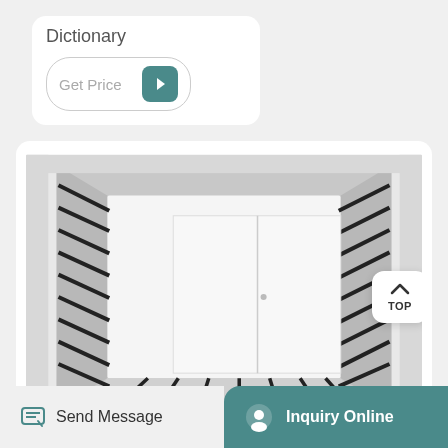Dictionary
Get Price
[Figure (photo): Top-down interior view of an industrial furnace chamber showing heating elements (black rods/bars) radiating from the walls and a white muffle/inner wall compartment in the center.]
TOP
Send Message
Inquiry Online